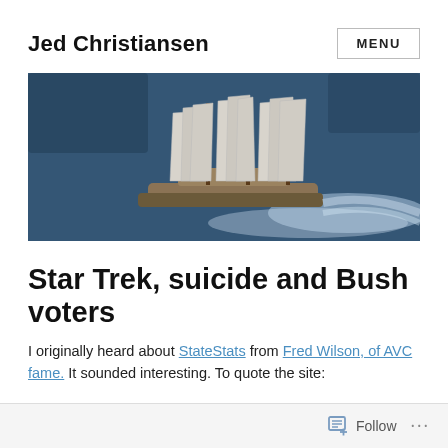Jed Christiansen
[Figure (photo): Aerial view of a large sailing vessel with multiple white sails on dark blue water]
Star Trek, suicide and Bush voters
I originally heard about StateStats from Fred Wilson, of AVC fame. It sounded interesting. To quote the site:
Follow ...